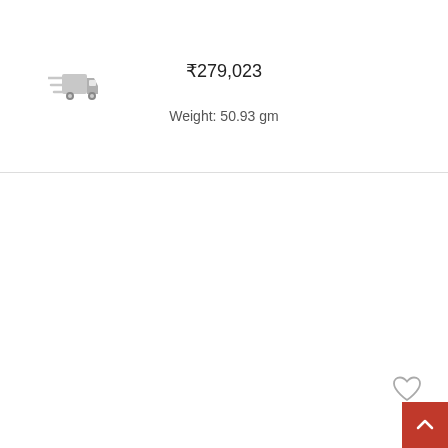[Figure (illustration): Gray delivery truck / fast shipping icon]
₹279,023
Weight: 50.93 gm
[Figure (illustration): Heart / wishlist icon (outline, gray)]
[Figure (illustration): Red circular loading spinner]
[Figure (illustration): Red back-to-top button with upward chevron arrow]